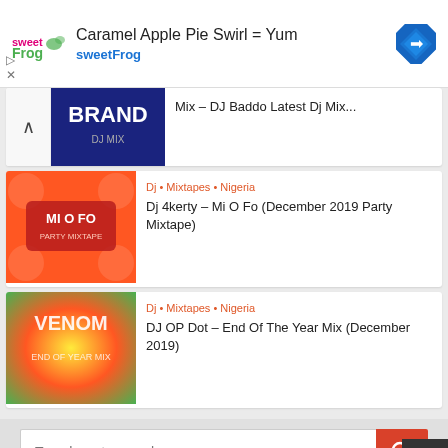[Figure (screenshot): sweetFrog advertisement banner with logo, text 'Caramel Apple Pie Swirl = Yum' and navigation icon]
Mix – DJ Baddo Latest Dj Mix...
Dj • Mixtapes • Nigeria
Dj 4kerty – Mi O Fo (December 2019 Party Mixtape)
Dj • Mixtapes • Nigeria
DJ OP Dot – End Of The Year Mix (December 2019)
[Figure (screenshot): Search bar with placeholder text 'Type here to search...' and red search button]